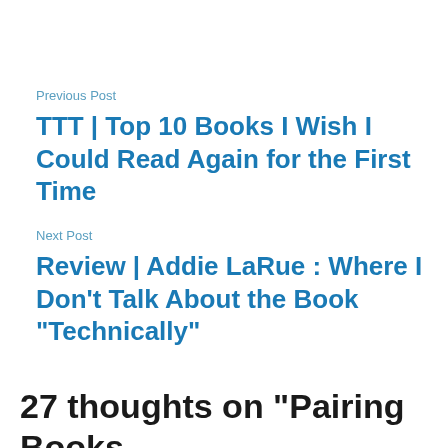Previous Post
TTT | Top 10 Books I Wish I Could Read Again for the First Time
Next Post
Review | Addie LaRue : Where I Don’t Talk About the Book “Technically”
27 thoughts on “Pairing Books